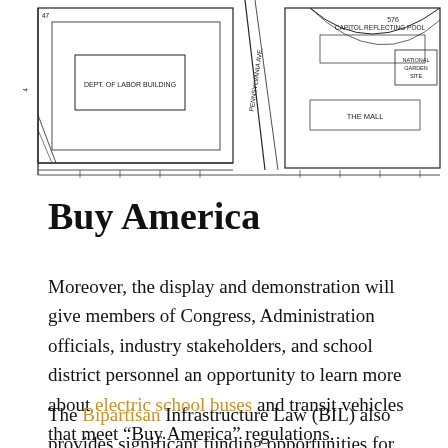[Figure (map): Architectural/street map showing Dept. of Labor Building, Pennsylvania Avenue, Capitol Reflecting Pool, The Mall, and surrounding streets and structures.]
Buy America
Moreover, the display and demonstration will give members of Congress, Administration officials, industry stakeholders, and school district personnel an opportunity to learn more about electric school buses and transit vehicles that meet “Buy America” regulations.
The Bipartisan Infrastructure Law (BIL) also provides significant funding opportunities for